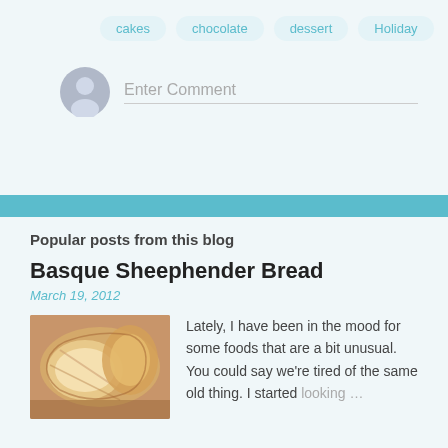cakes
chocolate
dessert
Holiday
Enter Comment
Popular posts from this blog
Basque Sheephender Bread
March 19, 2012
[Figure (photo): Sliced white bread loaf, close-up view]
Lately, I have been in the mood for some foods that are a bit unusual. You could say we're tired of the same old thing. I started looking ...